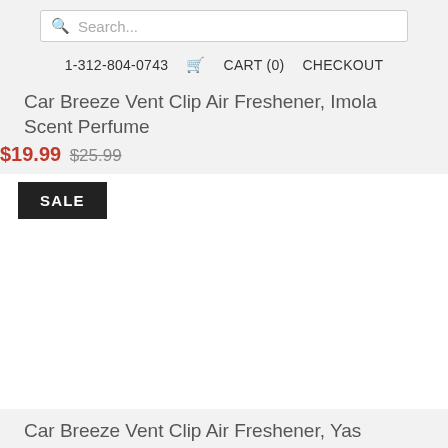Search...
1-312-804-0743  CART (0)  CHECKOUT
Car Breeze Vent Clip Air Freshener, Imola Scent Perfume
$19.99  $25.99
SALE
[Figure (photo): Product image area for Car Breeze Vent Clip Air Freshener, Imola Scent Perfume (image not visible in crop)]
Car Breeze Vent Clip Air Freshener, Yas Marina Scent Perfume
$19.99  $25.99